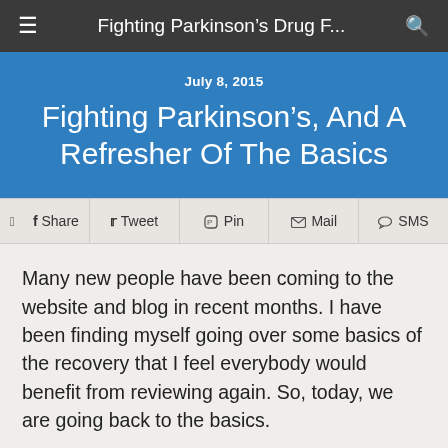Fighting Parkinson's Drug F...
July 8, 2015
Fighting Parkinson's, And A Refresher Of The Basics
Share  Tweet  Pin  Mail  SMS
Many new people have been coming to the website and blog in recent months. I have been finding myself going over some basics of the recovery that I feel everybody would benefit from reviewing again. So, today, we are going back to the basics.